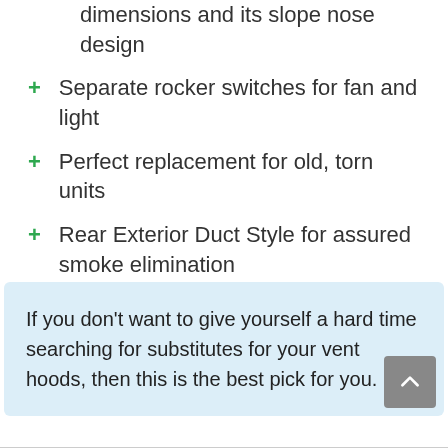dimensions and its slope nose design
Separate rocker switches for fan and light
Perfect replacement for old, torn units
Rear Exterior Duct Style for assured smoke elimination
If you don't want to give yourself a hard time searching for substitutes for your vent hoods, then this is the best pick for you.